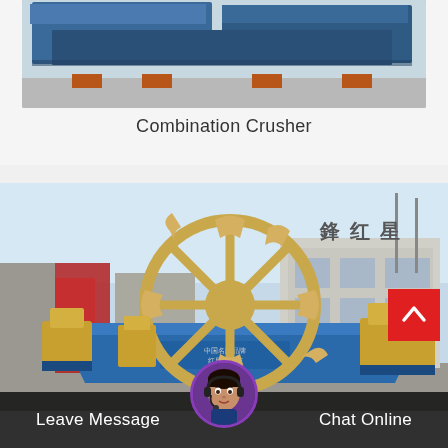[Figure (photo): Photo of Combination Crusher machinery — blue metal crushing equipment stacked on orange pallets on a concrete surface]
Combination Crusher
[Figure (photo): Photo of sand washing machine with large yellow paddle wheel and blue basin, set in a factory yard with Chinese signage on building]
Leave Message  Chat Online